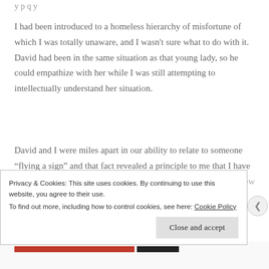I had been introduced to a homeless hierarchy of misfortune of which I was totally unaware, and I wasn't sure what to do with it. David had been in the same situation as that young lady, so he could empathize with her while I was still attempting to intellectually understand her situation.
David and I were miles apart in our ability to relate to someone “flying a sign” and that fact revealed a principle to me that I have since taught to many others. Sometimes the more thing never view as our
Privacy & Cookies: This site uses cookies. By continuing to use this website, you agree to their use.
To find out more, including how to control cookies, see here: Cookie Policy
Close and accept